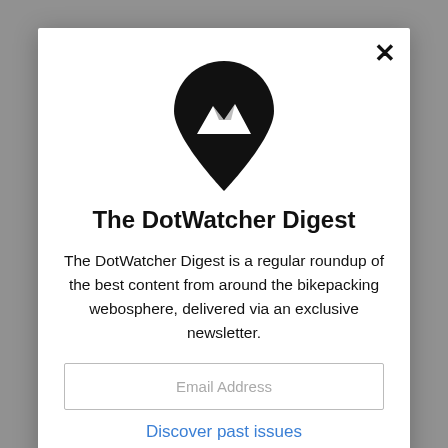[Figure (logo): DotWatcher map pin logo with mountain peaks inside, black on white]
The DotWatcher Digest
The DotWatcher Digest is a regular roundup of the best content from around the bikepacking webosphere, delivered via an exclusive newsletter.
Email Address
Discover past issues